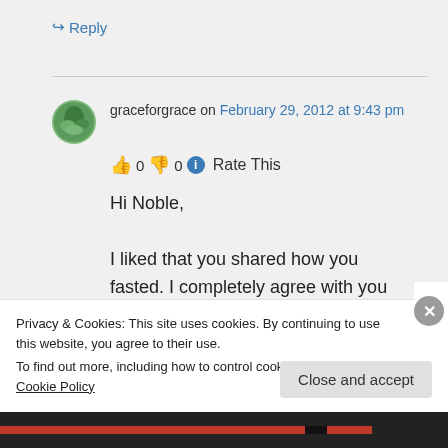↪ Reply
graceforgrace on February 29, 2012 at 9:43 pm
👍 0 👎 0 ℹ Rate This
Hi Noble,

I liked that you shared how you fasted. I completely agree with you
Privacy & Cookies: This site uses cookies. By continuing to use this website, you agree to their use.
To find out more, including how to control cookies, see here: Cookie Policy
Close and accept